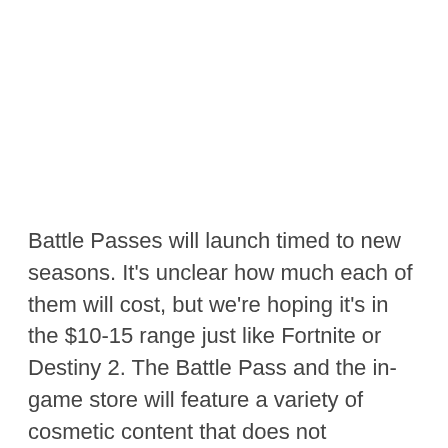Battle Passes will launch timed to new seasons. It's unclear how much each of them will cost, but we're hoping it's in the $10-15 range just like Fortnite or Destiny 2. The Battle Pass and the in-game store will feature a variety of cosmetic content that does not